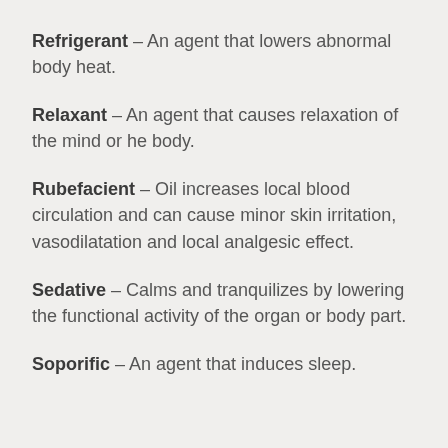Refrigerant – An agent that lowers abnormal body heat.
Relaxant – An agent that causes relaxation of the mind or he body.
Rubefacient – Oil increases local blood circulation and can cause minor skin irritation, vasodilatation and local analgesic effect.
Sedative – Calms and tranquilizes by lowering the functional activity of the organ or body part.
Soporific – An agent that induces sleep.